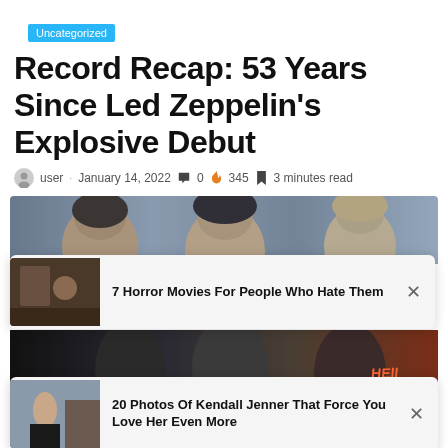Uncategorized
Record Recap: 53 Years Since Led Zeppelin's Explosive Debut
user · January 14, 2022 💬 0 🔥 345 📖 3 minutes read
[Figure (photo): Band photo strip showing multiple people peeking, partially cut off at top]
[Figure (photo): Popup card: thumbnail of dark room interior with text '7 Horror Movies For People Who Hate Them' and X close button]
[Figure (photo): Second band photo strip showing people with arms crossed, HELL text visible]
[Figure (photo): Popup card: thumbnail of street photo with text '20 Photos Of Kendall Jenner That Force You Love Her Even More' and X close button]